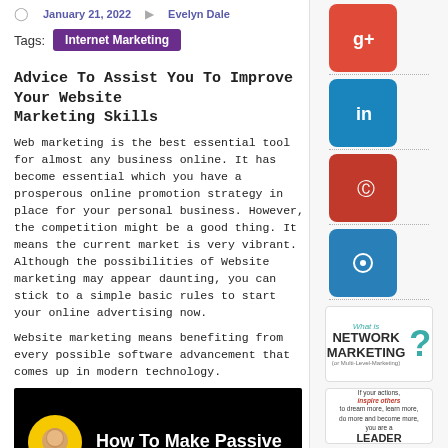January 21, 2022   Evelyn Dale
Tags: Internet Marketing
Advice To Assist You To Improve Your Website Marketing Skills
Web marketing is the best essential tool for almost any business online. It has become essential which you have a prosperous online promotion strategy in place for your personal business. However, the competition might be a good thing. It means the current market is very vibrant. Although the possibilities of Website marketing may appear daunting, you can stick to a simple basic rules to start your online advertising now.
Website marketing means benefiting from every possible software advancement that comes up in modern technology.
[Figure (screenshot): Video thumbnail showing a person avatar on yellow circle with text 'How To Make Passive']
[Figure (illustration): Social media share buttons: Google+, LinkedIn, Pinterest, email icon]
[Figure (infographic): What is Network Marketing? infographic with teal question mark]
[Figure (infographic): Inspirational quote box about actions]